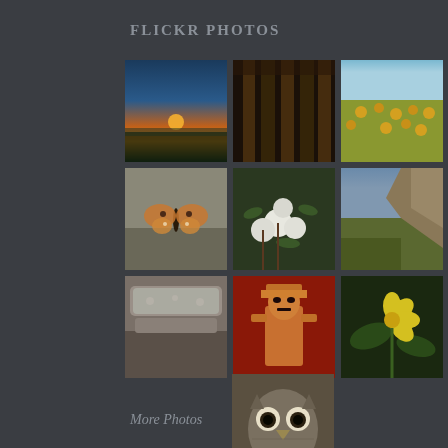FLICKR PHOTOS
[Figure (photo): Grid of 10 Flickr photos: sunset over water, architectural columns, sunflower field, butterfly on rocks, cotton plant, rocky hillside landscape, stone/mineral texture, ancient figure statue, yellow flower, stone owl sculpture face]
More Photos